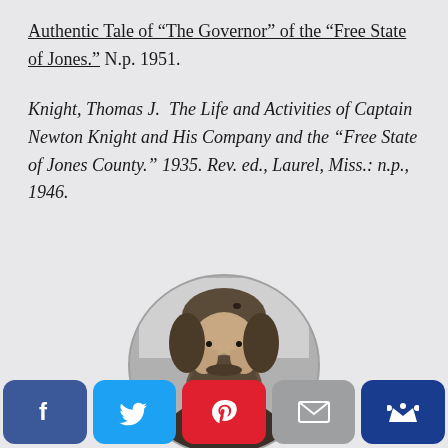Authentic Tale of "The Governor" of the "Free State of Jones." N.p. 1951.
Knight, Thomas J.  The Life and Activities of Captain Newton Knight and His Company and the "Free State of Jones County." 1935. Rev. ed., Laurel, Miss.: n.p., 1946.
[Figure (photo): Oval black and white portrait photograph of a bearded man, likely Newton Knight, from the 19th century.]
Social sharing buttons: Facebook, Twitter, Pinterest, Email, Crown/Bookmark